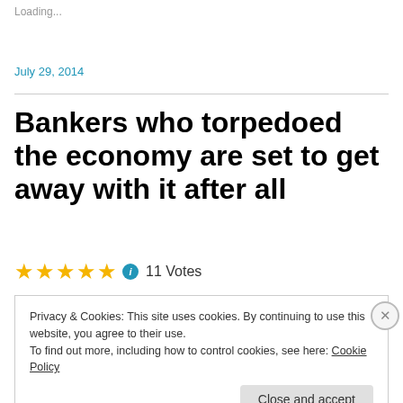Loading...
July 29, 2014
Bankers who torpedoed the economy are set to get away with it after all
★★★★★ ℹ 11 Votes
Privacy & Cookies: This site uses cookies. By continuing to use this website, you agree to their use.
To find out more, including how to control cookies, see here: Cookie Policy
Close and accept